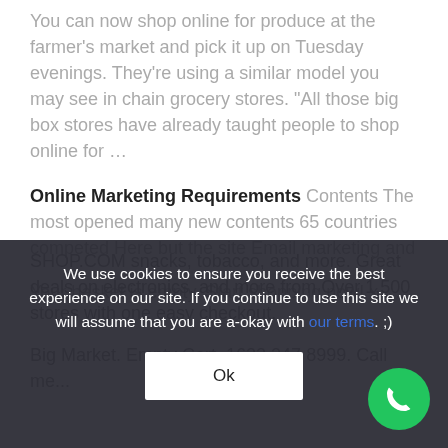You can now shop online for produce at the farmer's market and pick it up on Tuesday evenings. They're using a similar model you may see in chain grocery stores. "All those big box stores have already taught people to shop online for …
Online Marketing Requirements Contents The most opened many new contents 65 countries competed Here but the site Email marketing and
Your basket is empty. Start shopping now! x …
SHOP.COM snacks, tobacco, and more. Great deals on electronics, and more from Over 1,500 stores with one easy checkout.
Big Market. Empty Cart. 1622 247 8999. Call me...
We use cookies to ensure you receive the best experience on our site. If you continue to use this site we will assume that you are a-okay with our terms. ;)
Ok